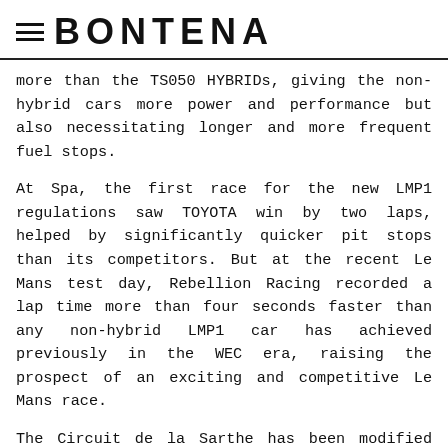≡ BONTENA
more than the TS050 HYBRIDs, giving the non-hybrid cars more power and performance but also necessitating longer and more frequent fuel stops.
At Spa, the first race for the new LMP1 regulations saw TOYOTA win by two laps, helped by significantly quicker pit stops than its competitors. But at the recent Le Mans test day, Rebellion Racing recorded a lap time more than four seconds faster than any non-hybrid LMP1 car has achieved previously in the WEC era, raising the prospect of an exciting and competitive Le Mans race.
The Circuit de la Sarthe has been modified slightly since last year's race with upgraded safety measures contributing to a reduction of the official track length by three metres. That means Kamui's 2017 pole position time of 3mins 14.791secs on the 13.629 km lay-out can never be beaten and joins Martin